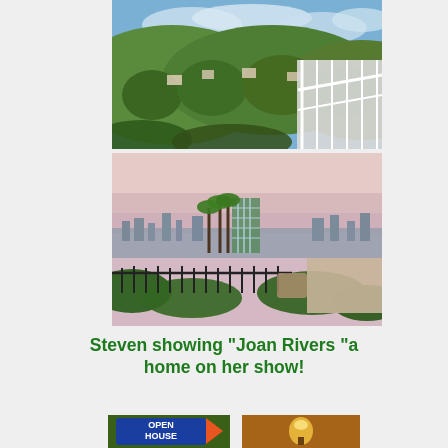[Figure (photo): Aerial/elevated view of hillside neighborhood with lush greenery, houses on hillside, blue sky with clouds, white balcony railing in foreground]
[Figure (photo): City panoramic view at dusk/dawn from elevated balcony with wrought iron railing, palm trees and buildings visible, pink-purple sky]
Steven showing "Joan Rivers "a home on her show!
[Figure (photo): Open house sign with blue arrow, green foliage behind]
[Figure (photo): Close-up of an antique outdoor lamp/light fixture glowing warmly]